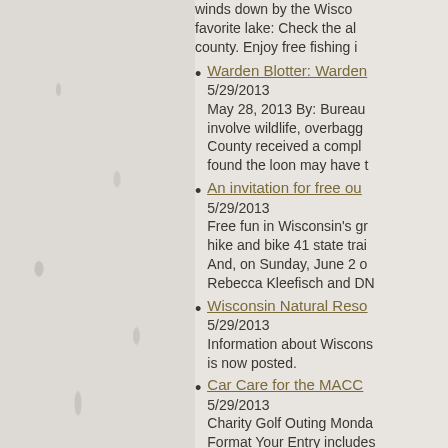winds down by the Wisconsin favorite lake: Check the al county. Enjoy free fishing i
Warden Blotter: Warden
5/29/2013
May 28, 2013 By: Bureau involve wildlife, overbagging County received a compla found the loon may have t
An invitation for free ou
5/29/2013
Free fun in Wisconsin's gr hike and bike 41 state trai And, on Sunday, June 2 o Rebecca Kleefisch and DN
Wisconsin Natural Res
5/29/2013
Information about Wiscons is now posted.
Car Care for the MACO
5/29/2013
Charity Golf Outing Monda Format Your Entry includes Picture Locker Room Priv